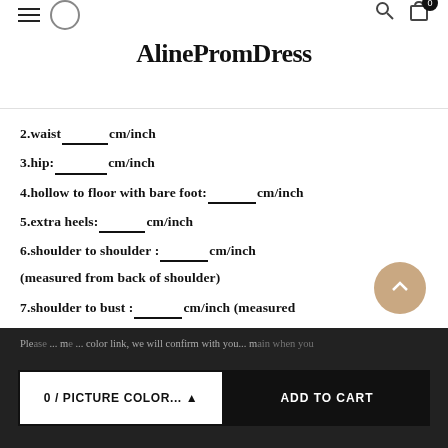AlinePromDress
2.waist______cm/inch
3.hip:_______cm/inch
4.hollow to floor with bare foot:_______cm/inch
5.extra heels:______cm/inch
6.shoulder to shoulder :_______cm/inch (measured from back of shoulder)
7.shoulder to bust :_______cm/inch (measured from middle shoulder to nipple)
8.shoulder to waist :_______cm/inch (measured from middle of shoulder to natural waist)
9.nipple to nipple:_______cm/inch
10.armhole:__________cm/inch
11.Sleeve length:__________cm/inch
0 / PICTURE COLOR...   ADD TO CART
Please ... color link, we will confirm with you...